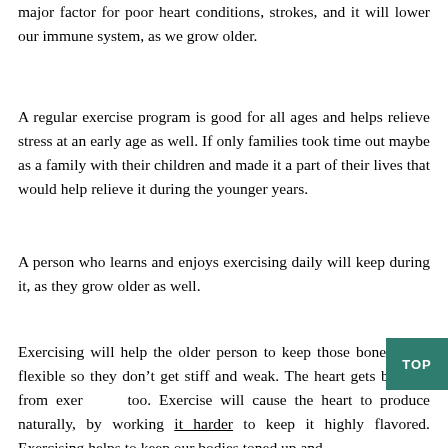major factor for poor heart conditions, strokes, and it will lower our immune system, as we grow older.
A regular exercise program is good for all ages and helps relieve stress at an early age as well. If only families took time out maybe as a family with their children and made it a part of their lives that would help relieve it during the younger years.
A person who learns and enjoys exercising daily will keep during it, as they grow older as well.
Exercising will help the older person to keep those bones more flexible so they don’t get stiff and weak. The heart gets benefits from exercising too. Exercise will cause the heart to produce naturally, by working it harder to keep it highly flavored. Exercising helps to keep our bodies toned up and